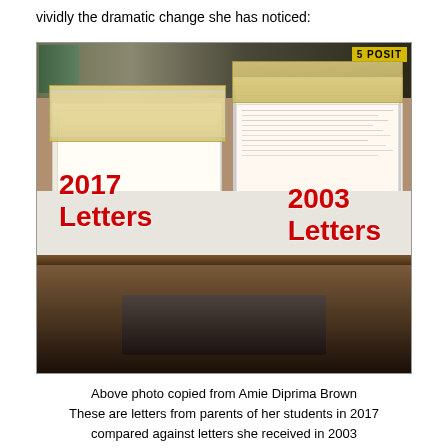vividly the dramatic change she has noticed:
[Figure (photo): Photo of two stacks of papers/letters on a desk. Left stack is labeled '2017 Letters' in red text and is a thin stack. Right stack is labeled '2003 Letters' in red text and is a much thicker, larger stack. The image visually shows that letters from parents in 2003 were much more numerous and detailed than those in 2017.]
Above photo copied from Amie Diprima Brown
These are letters from parents of her students in 2017 compared against letters she received in 2003